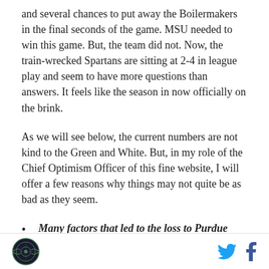and several chances to put away the Boilermakers in the final seconds of the game. MSU needed to win this game. But, the team did not. Now, the train-wrecked Spartans are sitting at 2-4 in league play and seem to have more questions than answers. It feels like the season in now officially on the brink.
As we will see below, the current numbers are not kind to the Green and White. But, in my role of the Chief Optimism Officer of this fine website, I will offer a few reasons why things may not quite be as bad as they seem.
Many factors that led to the loss to Purdue were bad luck. While it is often true that good teams
[logo] [twitter] [facebook]